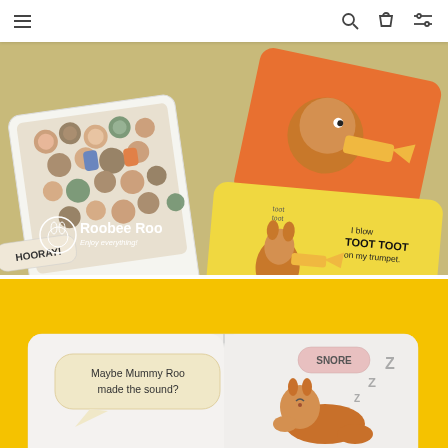Navigation bar with menu, search, cart, and filter icons
[Figure (photo): Roobee Roo branded children's book cards displayed on a tan/gold background. Left card shows a crowd of illustrated cartoon animals with a speech bubble saying HOORAY!. Top right card shows an orange card with a cartoon dog playing a trumpet. Bottom right card shows a yellow card with a kangaroo playing a trumpet and text reading 'I blow TOOT TOOT on my trumpet.' The Roobee Roo logo with tagline 'Enjoy everything!' appears in white on the lower left.]
[Figure (photo): A bright yellow background showing the bottom portion of an open children's board book. The left page shows a speech bubble with text 'Maybe Mummy Roo made the sound?' The right page shows a cartoon kangaroo character with a speech bubble saying SNORE and large Z letters indicating sleep/snoring.]